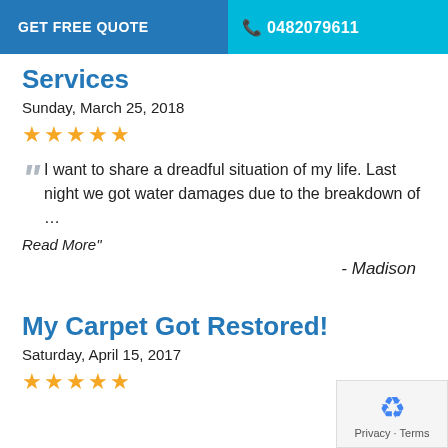GET FREE QUOTE   0482079611
Services
Sunday, March 25, 2018
★★★★★
I want to share a dreadful situation of my life. Last night we got water damages due to the breakdown of …
Read More"
- Madison
My Carpet Got Restored!
Saturday, April 15, 2017
★★★★★